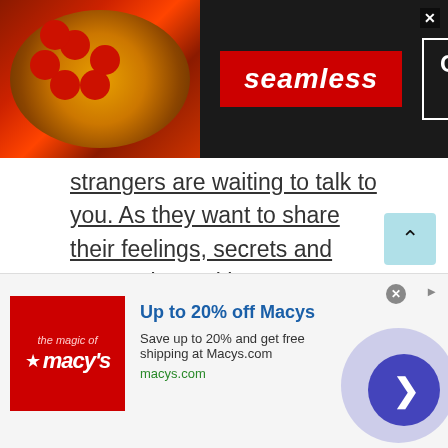[Figure (screenshot): Seamless food delivery advertisement banner with pizza image, red Seamless badge, and ORDER NOW button in white box on dark background]
strangers are waiting to talk to you. As they want to share their feelings, secrets and suggestions with you.
Senior chat
Are you old age? Or thinking online chatting sites are not designed for old age people? Well, if you are assuming this then remember it's not the case. Talkwithstranger app is the best available platform where all age group people are invited to talk to
[Figure (screenshot): Macy's advertisement: Up to 20% off Macys. Save up to 20% and get free shipping at Macys.com. macys.com]